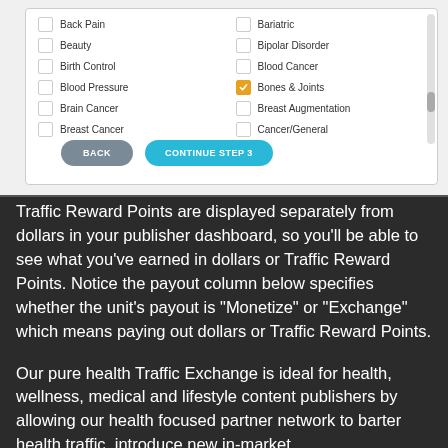[Figure (screenshot): UI screenshot of a health category checkbox selection panel with two columns of checkboxes. Left column: Back Pain, Beauty, Birth Control, Blood Pressure, Brain Cancer, Breast Cancer. Right column: Bariatric, Bipolar Disorder, Blood Cancer, Bones & Joints (checked/orange), Breast Augmentation, Cancer/General. Below the list are two buttons: BACK (grey) and CONTINUE STEP 3 (blue).]
Traffic Reward Points are displayed separately from dollars in your publisher dashboard, so you'll be able to see what you've earned in dollars or Traffic Reward Points. Notice the payout column below specifies whether the unit's payout is "Monetize" or "Exchange" which means paying out dollars or Traffic Reward Points.
Our pure health Traffic Exchange is ideal for health, wellness, medical and lifestyle content publishers by allowing our health focused partner network to barter health traffic, introduce new in-market